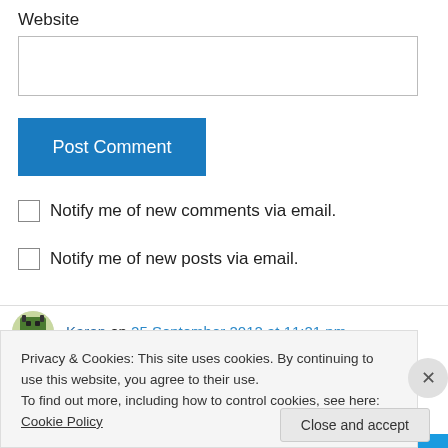Website
Post Comment
Notify me of new comments via email.
Notify me of new posts via email.
Karen on 25 September 2012 at 11:21 pm
Privacy & Cookies: This site uses cookies. By continuing to use this website, you agree to their use.
To find out more, including how to control cookies, see here: Cookie Policy
Close and accept